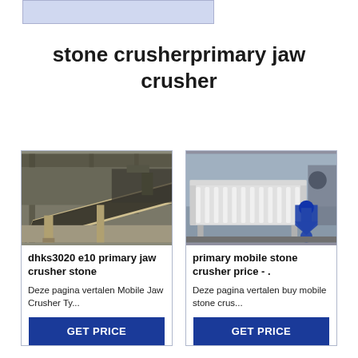[Figure (other): Light blue banner/image placeholder at top left]
stone crusherprimary jaw crusher
[Figure (photo): Industrial conveyor belt machinery in a factory/warehouse setting]
dhks3020 e10 primary jaw crusher stone
Deze pagina vertalen Mobile Jaw Crusher Ty...
[Figure (photo): White roller conveyor/vibrating screen equipment in industrial setting with blue icon overlay]
primary mobile stone crusher price - .
Deze pagina vertalen buy mobile stone crus...